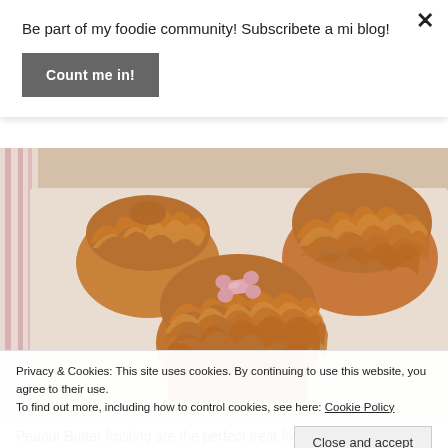Be part of my foodie community! Subscribete a mi blog!
Count me in!
[Figure (photo): Close-up photo of dog treat cupcakes with peanut butter frosting piped in ruffled swirls, decorated with a pink bone-shaped dog biscuit on top, arranged on a white surface]
Privacy & Cookies: This site uses cookies. By continuing to use this website, you agree to their use.
To find out more, including how to control cookies, see here: Cookie Policy
Close and accept
Peanut Butter frosting are the perfect treat for